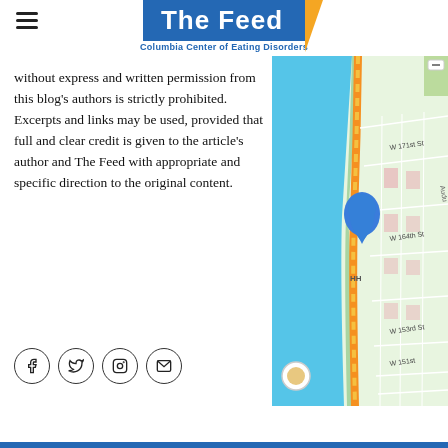The Feed — Columbia Center of Eating Disorders
without express and written permission from this blog's authors is strictly prohibited. Excerpts and links may be used, provided that full and clear credit is given to the article's author and The Feed with appropriate and specific direction to the original content.
[Figure (map): Street map showing area near W 171st St, W 164th St, W 153rd St, W 151st St in upper Manhattan/Washington Heights, with Hudson River on the left, highway running through, and a blue location pin marker.]
[Figure (infographic): Social media icons row: Facebook, Twitter, Instagram, Email — each in a circular border]